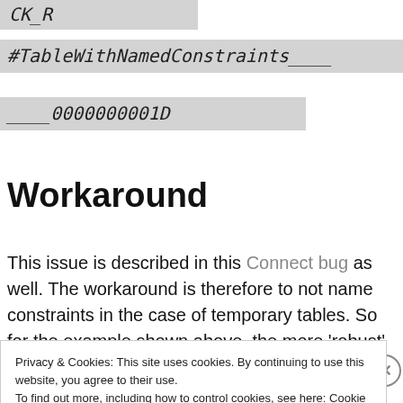CK_R
#TableWithNamedConstraints____
____0000000001D
Workaround
This issue is described in this Connect bug as well. The workaround is therefore to not name constraints in the case of temporary tables. So for the example shown above, the more ‘robust’ version (for the temp
Privacy & Cookies: This site uses cookies. By continuing to use this website, you agree to their use.
To find out more, including how to control cookies, see here: Cookie Policy
Close and accept